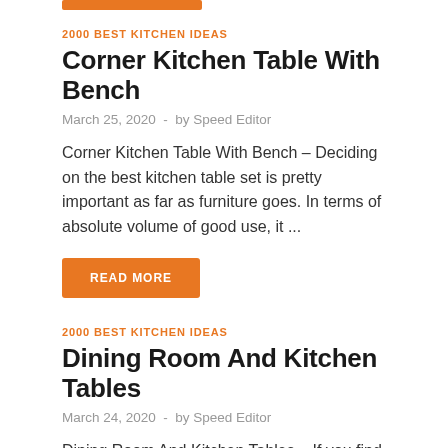2000 BEST KITCHEN IDEAS
Corner Kitchen Table With Bench
March 25, 2020  -  by Speed Editor
Corner Kitchen Table With Bench – Deciding on the best kitchen table set is pretty important as far as furniture goes. In terms of absolute volume of good use, it ...
READ MORE
2000 BEST KITCHEN IDEAS
Dining Room And Kitchen Tables
March 24, 2020  -  by Speed Editor
Dining Room And Kitchen Tables – If you find yourself needing a dining set but you just possess a very small